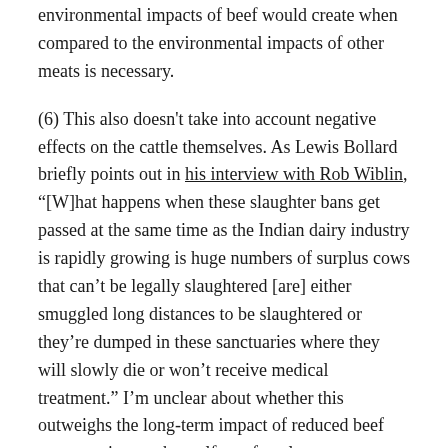environmental impacts of beef would create when compared to the environmental impacts of other meats is necessary.
(6) This also doesn't take into account negative effects on the cattle themselves. As Lewis Bollard briefly points out in his interview with Rob Wiblin, "[W]hat happens when these slaughter bans get passed at the same time as the Indian dairy industry is rapidly growing is huge numbers of surplus cows that can't be legally slaughtered [are] either smuggled long distances to be slaughtered or they're dumped in these sanctuaries where they will slowly die or won't receive medical treatment." I'm unclear about whether this outweighs the long-term impact of reduced beef consumption on the welfare of cattle.